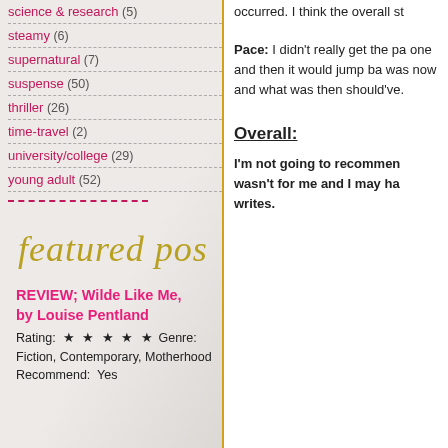science & research (5)
steamy (6)
supernatural (7)
suspense (50)
thriller (26)
time-travel (2)
university/college (29)
young adult (52)
[Figure (illustration): Decorative 'featured post' script text in gold/olive italic handwriting style]
REVIEW; Wilde Like Me, by Louise Pentland
Rating: ★ ★ ★ ★ ★ Genre: Fiction, Contemporary, Motherhood Recommend: Yes
occurred. I think the overall st
Pace: I didn't really get the pa one and then it would jump ba was now and what was then should've.
Overall:
I'm not going to recommen wasn't for me and I may ha writes.